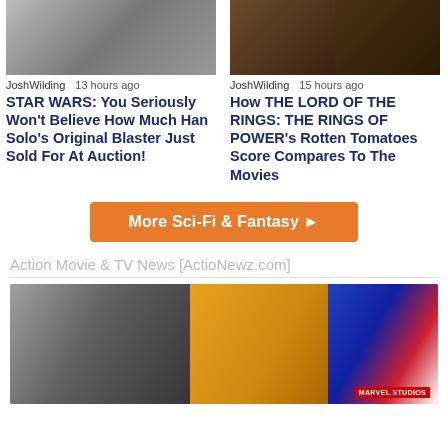[Figure (photo): Photo of Han Solo actor with fist raised, movie still]
[Figure (photo): Two side-by-side stills from The Lord of the Rings: The Rings of Power, showing fantasy creatures/scenes]
JoshWilding   13 hours ago
JoshWilding   15 hours ago
STAR WARS: You Seriously Won't Believe How Much Han Solo's Original Blaster Just Sold For At Auction!
How THE LORD OF THE RINGS: THE RINGS OF POWER's Rotten Tomatoes Score Compares To The Movies
More Sci-Fi & Fantasy ▶
Action Movie & TV News [ActioNewz.com]
[Figure (photo): Composite image: young man's face on left, yellow superhero character in center, red and white costumed hero on right with Marvel Studios badge]